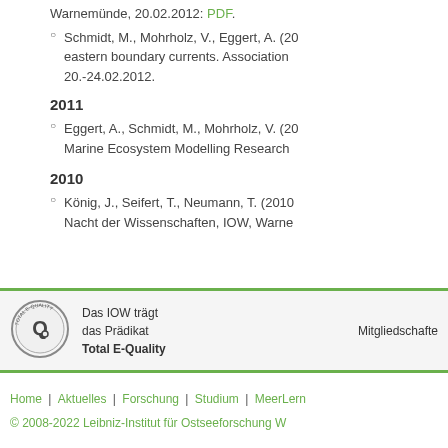Warnemünde, 20.02.2012. PDF.
Schmidt, M., Mohrholz, V., Eggert, A. (20... eastern boundary currents. Association ... 20.-24.02.2012.
2011
Eggert, A., Schmidt, M., Mohrholz, V. (20... Marine Ecosystem Modelling Research ...
2010
König, J., Seifert, T., Neumann, T. (2010... Nacht der Wissenschaften, IOW, Warne...
[Figure (logo): Total E-Quality logo — circular seal with Q letter]
Das IOW trägt das Prädikat Total E-Quality
Mitgliedschafte...
Home | Aktuelles | Forschung | Studium | MeerLern...
© 2008-2022 Leibniz-Institut für Ostseeforschung W...